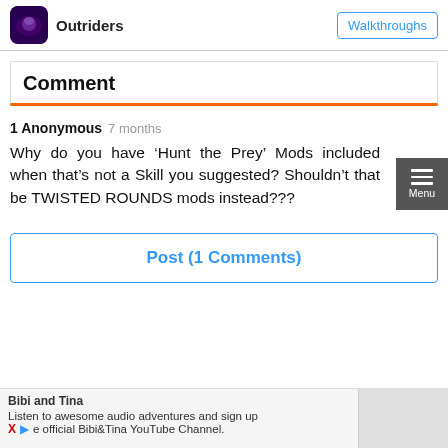Outriders | Walkthroughs
Comment
1 Anonymous  7 months
Why do you have ‘Hunt the Prey’ Mods included when that’s not a Skill you suggested? Shouldn’t that be TWISTED ROUNDS mods instead???
Post (1 Comments)
Bibi and Tina
Listen to awesome audio adventures and sign up
e official Bibi&Tina YouTube Channel.